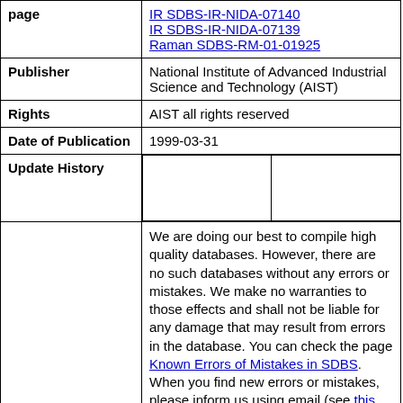| Field | Value |
| --- | --- |
| page | IR SDBS-IR-NIDA-07140
IR SDBS-IR-NIDA-07139
Raman SDBS-RM-01-01925 |
| Publisher | National Institute of Advanced Industrial Science and Technology (AIST) |
| Rights | AIST all rights reserved |
| Date of Publication | 1999-03-31 |
| Update History |  |
|  | We are doing our best to compile high quality databases. However, there are no such databases without any errors or mistakes. We make no warranties to those effects and shall not be liable for any damage that may result from errors in the database. You can check the page Known Errors of Mistakes in SDBS. When you find new errors or mistakes, please inform us using email (see this page for contact details).
  Access to this database is free of charge. However we request visitors to our database not to download more than 50 spectra and/or compound information in one day. All |